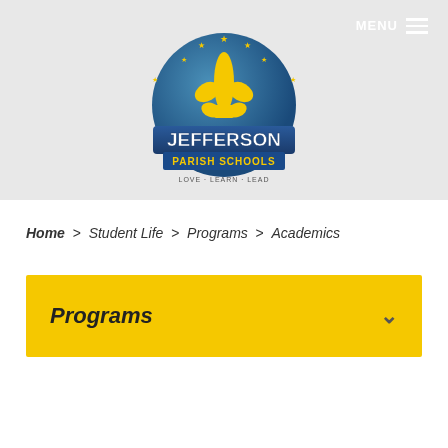[Figure (logo): Jefferson Parish Schools logo with fleur-de-lis, blue circular background, gold stars, and banner reading LOVE · LEARN · LEAD]
MENU
Home > Student Life > Programs > Academics
Programs